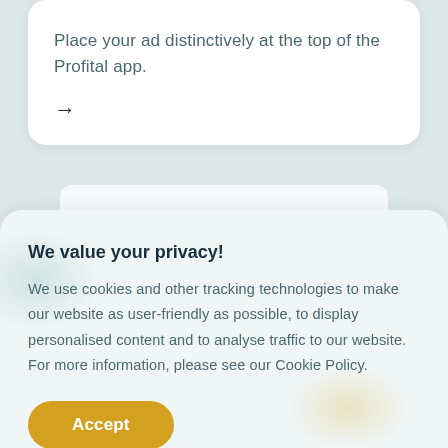Place your ad distinctively at the top of the Profital app.
→
We value your privacy!
We use cookies and other tracking technologies to make our website as user-friendly as possible, to display personalised content and to analyse traffic to our website. For more information, please see our Cookie Policy.
Accept